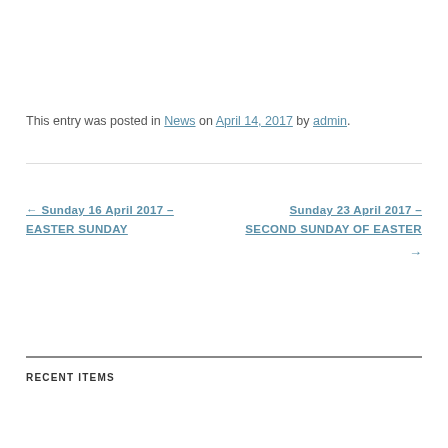This entry was posted in News on April 14, 2017 by admin.
← Sunday 16 April 2017 – EASTER SUNDAY
Sunday 23 April 2017 – SECOND SUNDAY OF EASTER →
RECENT ITEMS